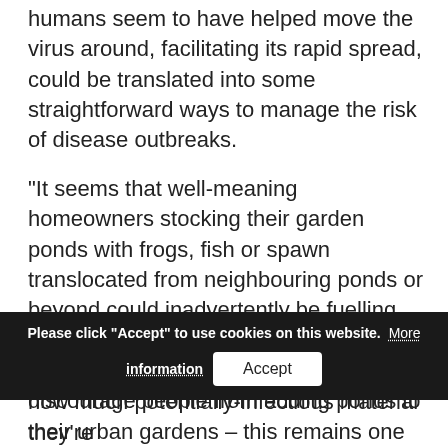UK's amphibian population, so our findings that humans seem to have helped move the virus around, facilitating its rapid spread, could be translated into some straightforward ways to manage the risk of disease outbreaks.
“It seems that well-meaning homeowners stocking their garden ponds with frogs, fish or spawn translocated from neighbouring ponds or beyond could inadvertently be fuelling the spread of this serious amphibian disease. We certainly don’t want to discourage people from adding ponds to their urban gardens – this remains one of the most positive steps [obscured by cookie bar] equally we wou[obscured] to try to limit how much potentially-infectious material they’re
Please click "Accept" to use cookies on this website. More information
how much potentially-infectious material they’re